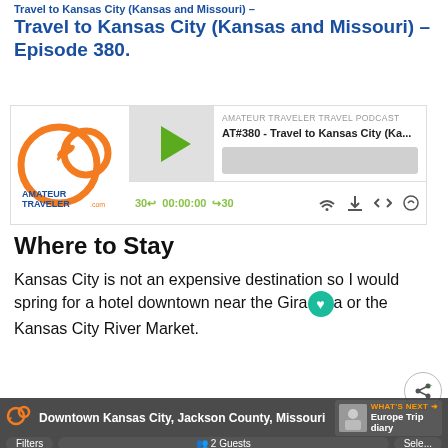Travel to Kansas City (Kansas and Missouri) – Episode 380.
[Figure (screenshot): Amateur Traveler podcast player widget showing episode AT#380 - Travel to Kansas City (Ka... with play button, timer 00:00:00, and controls]
Where to Stay
Kansas City is not an expensive destination so I would spring for a hotel downtown near the Gira❤a or the Kansas City River Market.
[Figure (screenshot): Map overlay showing Downtown Kansas City, Jackson County, Missouri with Bronco Buster and Barney Allis Plaza labels, Filters, 2 Guests, Select buttons, and What's Next: Europe Trip diary panel]